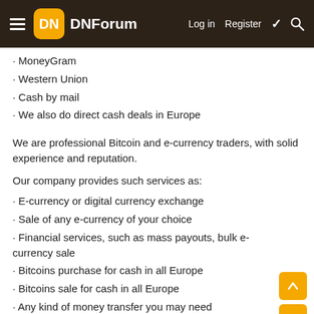DNForum — Log in  Register
· MoneyGram
· Western Union
· Cash by mail
· We also do direct cash deals in Europe
We are professional Bitcoin and e-currency traders, with solid experience and reputation.
Our company provides such services as:
· E-currency or digital currency exchange
· Sale of any e-currency of your choice
· Financial services, such as mass payouts, bulk e-currency sale
· Bitcoins purchase for cash in all Europe
· Bitcoins sale for cash in all Europe
· Any kind of money transfer you may need
· Payouts for online companies